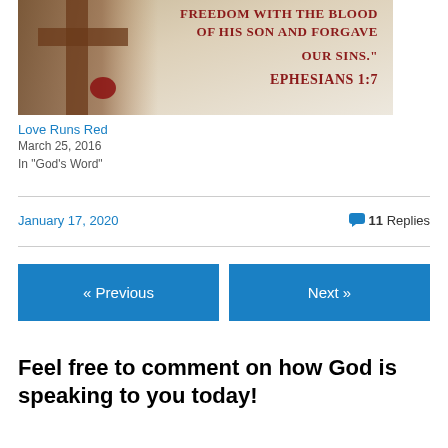[Figure (photo): Image of a wooden cross with a red wax seal, overlaid with text in dark red/maroon uppercase letters reading: FREEDOM WITH THE BLOOD OF HIS SON AND FORGAVE OUR SINS. EPHESIANS 1:7]
Love Runs Red
March 25, 2016
In "God's Word"
January 17, 2020
11 Replies
« Previous
Next »
Feel free to comment on how God is speaking to you today!